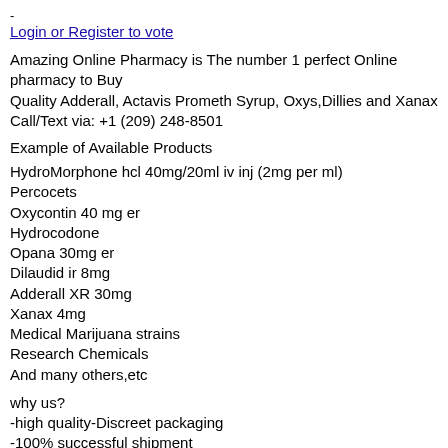Login or Register to vote
Amazing Online Pharmacy is The number 1 perfect Online pharmacy to Buy
Quality Adderall, Actavis Prometh Syrup, Oxys,Dillies and Xanax
Call/Text via: +1 (209) 248-8501
Example of Available Products
HydroMorphone hcl 40mg/20ml iv inj (2mg per ml)
Percocets
Oxycontin 40 mg er
Hydrocodone
Opana 30mg er
Dilaudid ir 8mg
Adderall XR 30mg
Xanax 4mg
Medical Marijuana strains
Research Chemicals
And many others,etc
why us?
-high quality-Discreet packaging
-100% successful shipment